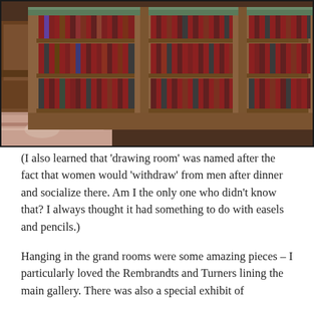[Figure (photo): A grand library bookshelf filled with rows of leather-bound books in deep red, brown, and dark tones, with ornate wooden shelving and a patterned carpet visible at the bottom left.]
(I also learned that ‘drawing room’ was named after the fact that women would ‘withdraw’ from men after dinner and socialize there. Am I the only one who didn’t know that? I always thought it had something to do with easels and pencils.)
Hanging in the grand rooms were some amazing pieces – I particularly loved the Rembrandts and Turners lining the main gallery. There was also a special exhibit of